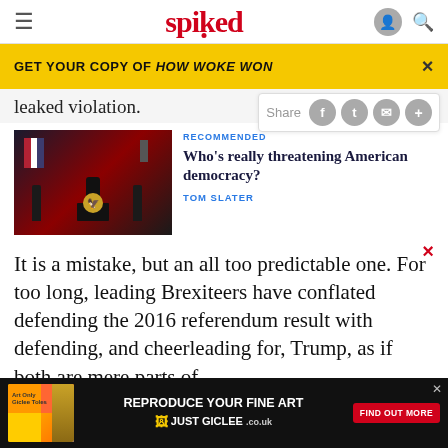spiked
GET YOUR COPY OF HOW WOKE WON
leaked violation.
Share
RECOMMENDED
Who's really threatening American democracy?
TOM SLATER
[Figure (photo): Photo of a person at a podium with guards and American flags in a dark red-lit setting]
It is a mistake, but an all too predictable one. For too long, leading Brexiteers have conflated defending the 2016 referendum result with defending, and cheerleading for, Trump, as if both are mere parts of some
ABOUT
[Figure (infographic): Advertisement banner: REPRODUCE YOUR FINE ART - JUST GICLEE.co.uk - FIND OUT MORE]